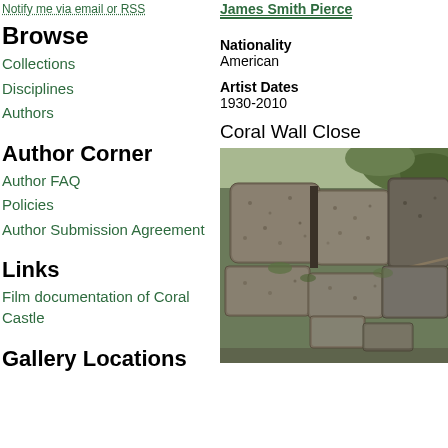Notify me via email or RSS
Browse
Collections
Disciplines
Authors
Author Corner
Author FAQ
Policies
Author Submission Agreement
Links
Film documentation of Coral Castle
Gallery Locations
James Smith Pierce
Nationality
American
Artist Dates
1930-2010
Coral Wall Close
[Figure (photo): Close-up photograph of a coral wall with large rough stone blocks stacked together, surrounded by vegetation, with smaller stepped stone structures in the foreground.]